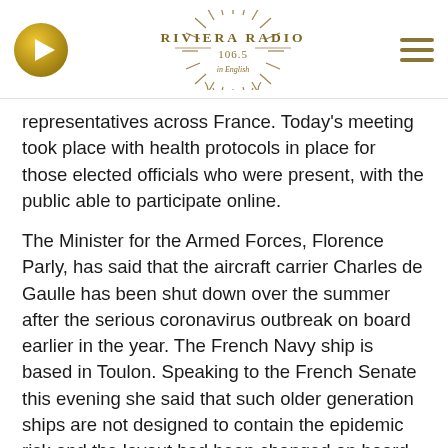[Figure (logo): Riviera Radio 106.5 in English logo with sunburst design, golden/olive color scheme. Play button on left, hamburger menu on right.]
representatives across France. Today's meeting took place with health protocols in place for those elected officials who were present, with the public able to participate online.
The Minister for the Armed Forces, Florence Parly, has said that the aircraft carrier Charles de Gaulle has been shut down over the summer after the serious coronavirus outbreak on board earlier in the year. The French Navy ship is based in Toulon. Speaking to the French Senate this evening she said that such older generation ships are not designed to contain the epidemic risk and the layout had been changed on board the Charles de Gaulle during the recent shutdown to better deal with the coronavirus risk.
The body of a man has been found in the Gard department after severe storms and floods affected the region over the weekend. The body is believed to be that of a local municipal